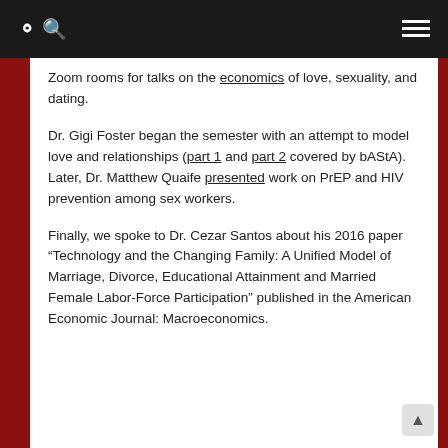Navigation bar with search and hamburger menu
Zoom rooms for talks on the economics of love, sexuality, and dating.
Dr. Gigi Foster began the semester with an attempt to model love and relationships (part 1 and part 2 covered by bAStA). Later, Dr. Matthew Quaife presented work on PrEP and HIV prevention among sex workers.
Finally, we spoke to Dr. Cezar Santos about his 2016 paper “Technology and the Changing Family: A Unified Model of Marriage, Divorce, Educational Attainment and Married Female Labor-Force Participation” published in the American Economic Journal: Macroeconomics.